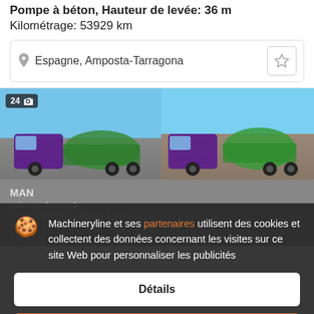Pompe à béton, Hauteur de levée: 36 m
Kilométrage: 53929 km
Espagne, Amposta-Tarragona
[Figure (photo): Two concrete pump trucks photographed side by side against a blue sky. Left image shows badge '24' with camera icon in top-left corner.]
MAN
prix sur demande
Espagne, Selva
Machineryline et ses partenaires utilisent des cookies et collectent des données concernant les visites sur ce site Web pour personnaliser les publicités
Détails
Accepter et fermer